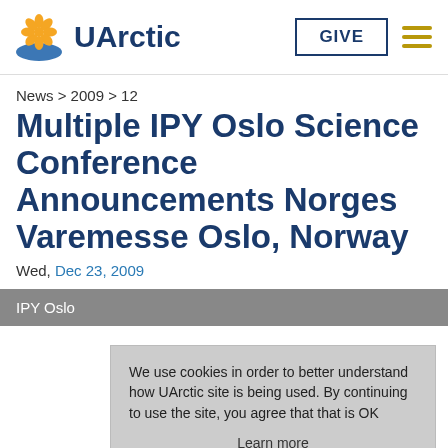UArctic | GIVE | menu
News > 2009 > 12
Multiple IPY Oslo Science Conference Announcements Norges Varemesse Oslo, Norway
Wed, Dec 23, 2009
IPY Oslo
We use cookies in order to better understand how UArctic site is being used. By continuing to use the site, you agree that that is OK
Learn more
Got it!